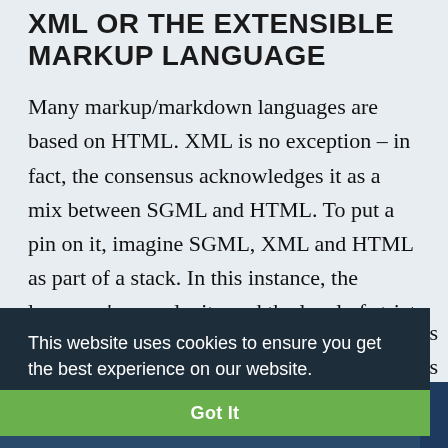XML OR THE EXTENSIBLE MARKUP LANGUAGE
Many markup/markdown languages are based on HTML. XML is no exception – in fact, the consensus acknowledges it as a mix between SGML and HTML. To put a pin on it, imagine SGML, XML and HTML as part of a stack. In this instance, the language's complexity and the level of strict ruling decrease from top to
[Figure (screenshot): Cookie consent banner overlay with dark background (#1e2d3a) reading 'This website uses cookies to ensure you get the best experience on our website.' with a 'Learn more...' link, and a green 'Got It' button below.]